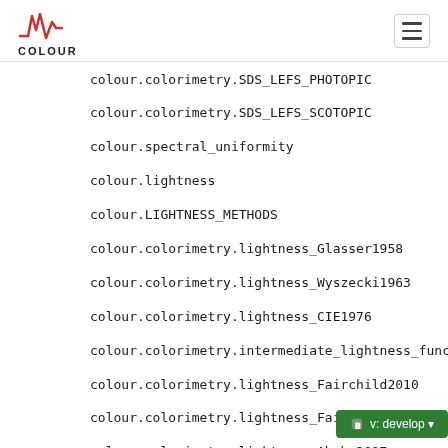COLOUR
colour.colorimetry.SDS_LEFS_PHOTOPIC
colour.colorimetry.SDS_LEFS_SCOTOPIC
colour.spectral_uniformity
colour.lightness
colour.LIGHTNESS_METHODS
colour.colorimetry.lightness_Glasser1958
colour.colorimetry.lightness_Wyszecki1963
colour.colorimetry.lightness_CIE1976
colour.colorimetry.intermediate_lightness_function_CIE1976
colour.colorimetry.lightness_Fairchild2010
colour.colorimetry.lightness_Fairchild2011
colour.colorimetry.lightness_Abebe2017
colour.luminance